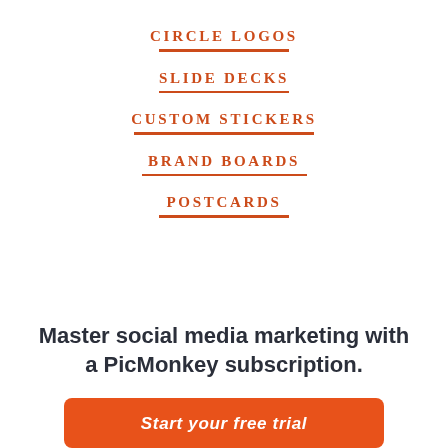CIRCLE LOGOS
SLIDE DECKS
CUSTOM STICKERS
BRAND BOARDS
POSTCARDS
Master social media marketing with a PicMonkey subscription.
Start your free trial